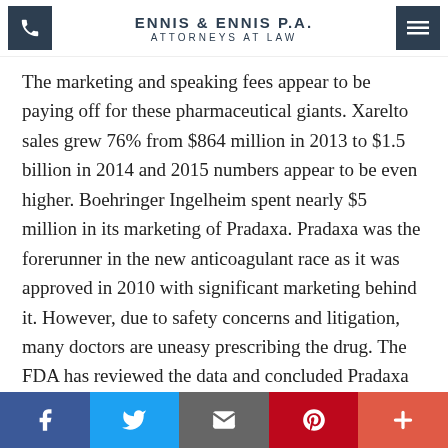ENNIS & ENNIS P.A. ATTORNEYS AT LAW
The marketing and speaking fees appear to be paying off for these pharmaceutical giants. Xarelto sales grew 76% from $864 million in 2013 to $1.5 billion in 2014 and 2015 numbers appear to be even higher. Boehringer Ingelheim spent nearly $5 million in its marketing of Pradaxa. Pradaxa was the forerunner in the new anticoagulant race as it was approved in 2010 with significant marketing behind it. However, due to safety concerns and litigation, many doctors are uneasy prescribing the drug. The FDA has reviewed the data and concluded Pradaxa is safe when used as directed. However, many doctors and multiple lawsuits, suggest that patients with Pradaxa should use an alternative...
f  twitter  email  pinterest  +